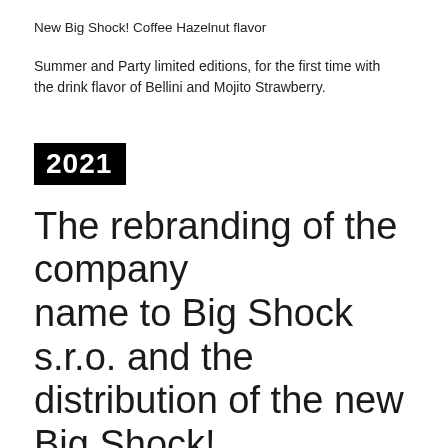New Big Shock! Coffee Hazelnut flavor
Summer and Party limited editions, for the first time with the drink flavor of Bellini and Mojito Strawberry.
2021
The rebranding of the company name to Big Shock s.r.o. and the distribution of the new Big Shock! Coffee brand
We are changing the company's name from the long used Al-Namura, spol. s r.o. to Big Shock s.r.o.
We are launching a new product range of top quality ice